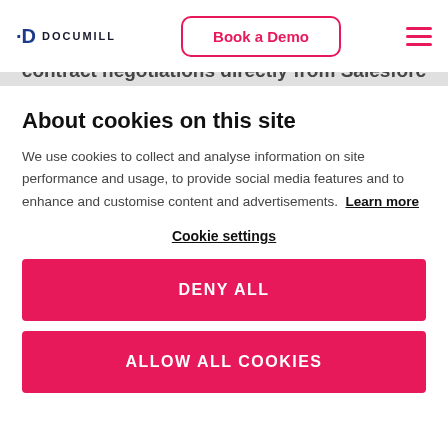Documill — Book a Demo
contract negotiations directly from Salesforc
About cookies on this site
We use cookies to collect and analyse information on site performance and usage, to provide social media features and to enhance and customise content and advertisements. Learn more
Cookie settings
DENY ALL
ALLOW ALL COOKIES